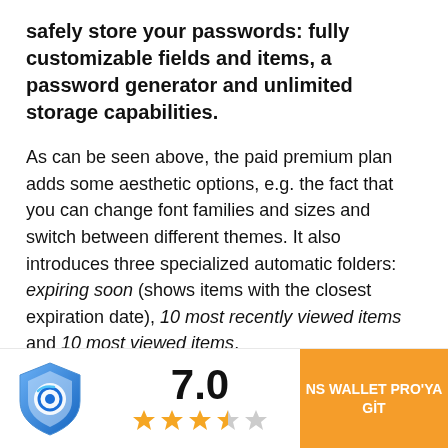safely store your passwords: fully customizable fields and items, a password generator and unlimited storage capabilities.
As can be seen above, the paid premium plan adds some aesthetic options, e.g. the fact that you can change font families and sizes and switch between different themes. It also introduces three specialized automatic folders: expiring soon (shows items with the closest expiration date), 10 most recently viewed items and 10 most viewed items.
Personally, I do not think the paid plan is worth it. The free version does everything that a password
[Figure (logo): NS Wallet shield logo — blue and white shield with circular icon]
7.0 (3.5 out of 5 stars rating)
NS WALLET PRO'YA GİT